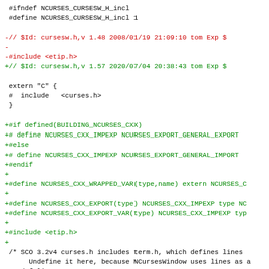[Figure (other): Source code diff view of cursesw.h file showing added and removed lines with color coding: black for context, red for removed lines, green for added lines, magenta for hunk headers]